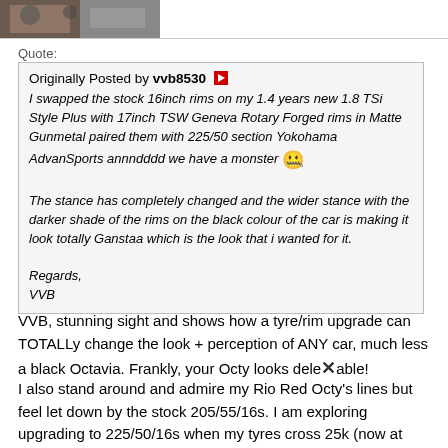[Figure (photo): Small avatar/profile image thumbnail at top left, showing a partially visible photo]
Quote:
Originally Posted by vvb8530
I swapped the stock 16inch rims on my 1.4 years new 1.8 TSi Style Plus with 17inch TSW Geneva Rotary Forged rims in Matte Gunmetal paired them with 225/50 section Yokohama AdvanSports annndddd we have a monster 😬

The stance has completely changed and the wider stance with the darker shade of the rims on the black colour of the car is making it look totally Ganstaa which is the look that i wanted for it.

Regards,
VVB
VVB, stunning sight and shows how a tyre/rim upgrade can TOTALLy change the look + perception of ANY car, much less a black Octavia. Frankly, your Octy looks delectable!
I also stand around and admire my Rio Red Octy's lines but feel let down by the stock 205/55/16s. I am exploring upgrading to 225/50/16s when my tyres cross 25k (now at 13k).